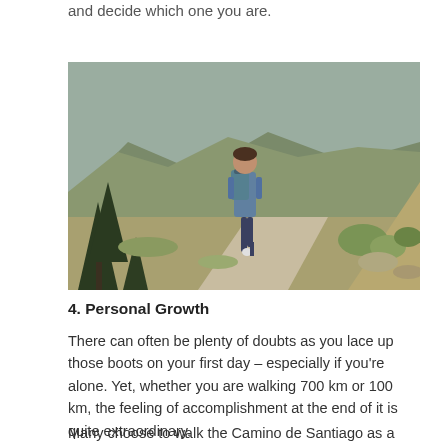and decide which one you are.
[Figure (photo): A hiker with a backpack walking away along a mountain trail, surrounded by green grassy hills, trees, and overcast sky.]
4. Personal Growth
There can often be plenty of doubts as you lace up those boots on your first day – especially if you're alone. Yet, whether you are walking 700 km or 100 km, the feeling of accomplishment at the end of it is quite extraordinary.
Many choose to walk the Camino de Santiago as a form of